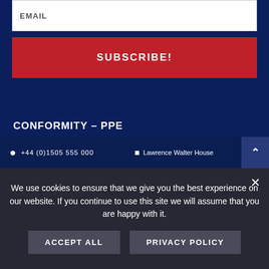EMAIL
SUBSCRIBE!
CONFORMITY – PPE
LOCATION
+44 (0)1505 555 000   Lawrence Walter House
We use cookies to ensure that we give you the best experience on our website. If you continue to use this site we will assume that you are happy with it.
ACCEPT ALL
PRIVACY POLICY